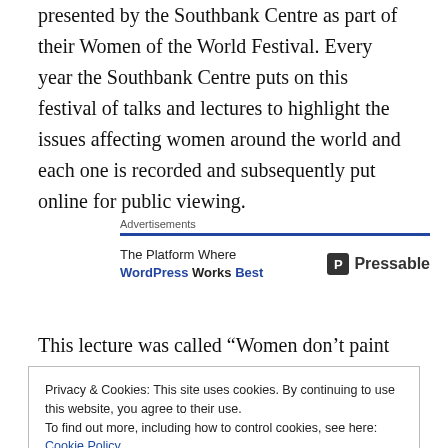presented by the Southbank Centre as part of their Women of the World Festival. Every year the Southbank Centre puts on this festival of talks and lectures to highlight the issues affecting women around the world and each one is recorded and subsequently put online for public viewing.
[Figure (infographic): Advertisement banner: 'The Platform Where WordPress Works Best' with Pressable logo]
This lecture was called “Women don’t paint very well – It’s
Privacy & Cookies: This site uses cookies. By continuing to use this website, you agree to their use.
To find out more, including how to control cookies, see here: Cookie Policy
Marietta Robusti, Tintoretto’s daughter and had just read